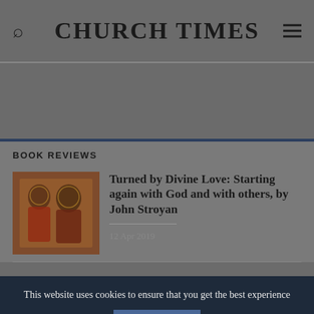CHURCH TIMES
BOOK REVIEWS
[Figure (photo): Book cover or article thumbnail image showing religious figures in warm tones]
Turned by Divine Love: Starting again with God and with others, by John Stroyan
12 Apr 2019
This website uses cookies to ensure that you get the best experience
OK
View Privacy Policy